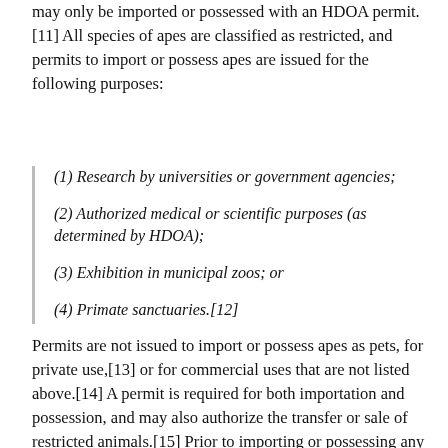may only be imported or possessed with an HDOA permit. [11] All species of apes are classified as restricted, and permits to import or possess apes are issued for the following purposes:
(1) Research by universities or government agencies;
(2) Authorized medical or scientific purposes (as determined by HDOA);
(3) Exhibition in municipal zoos; or
(4) Primate sanctuaries.[12]
Permits are not issued to import or possess apes as pets, for private use,[13] or for commercial uses that are not listed above.[14] A permit is required for both importation and possession, and may also authorize the transfer or sale of restricted animals.[15] Prior to importing or possessing any